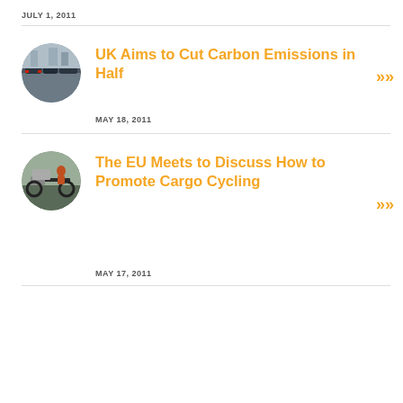JULY 1, 2011
UK Aims to Cut Carbon Emissions in Half
MAY 18, 2011
[Figure (photo): Circular thumbnail photo of city traffic with cars]
The EU Meets to Discuss How to Promote Cargo Cycling
MAY 17, 2011
[Figure (photo): Circular thumbnail photo of cargo cycling]